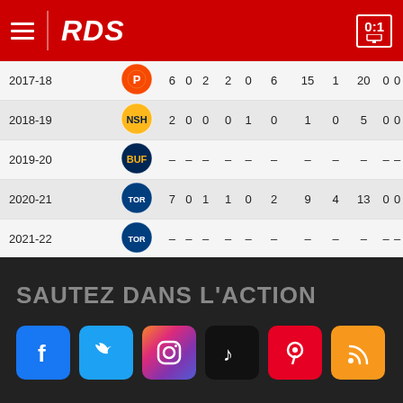RDS 0:1
| Season | Logo | GP | G | A | Pts | +/- | PIM | Shots | FO% | PPA | PPG | SHG |
| --- | --- | --- | --- | --- | --- | --- | --- | --- | --- | --- | --- | --- |
| 2017-18 | [Flyers] | 6 | 0 | 2 | 2 | 0 | 6 | 15 | 1 | 20 | 0 | 0 |
| 2018-19 | [Predators] | 2 | 0 | 0 | 0 | 1 | 0 | 1 | 0 | 5 | 0 | 0 |
| 2019-20 | [Sabres] | – | – | – | – | – | – | – | – | – | – |
| 2020-21 | [Maple Leafs] | 7 | 0 | 1 | 1 | 0 | 2 | 9 | 4 | 13 | 0 | 0 |
| 2021-22 | [Maple Leafs] | – | – | – | – | – | – | – | – | – | – |
| Total |  | 51 | 8 | 14 | 22 | -8 | 108 | 100 | 32 | 134 | 4 | 0 |
SAUTEZ DANS L'ACTION
[Figure (other): Social media icons row: Facebook, Twitter, Instagram, TikTok, Pinterest, RSS]